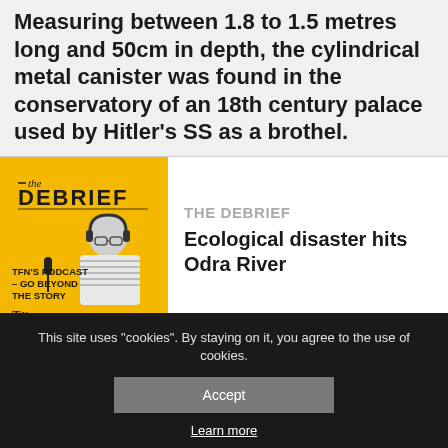Measuring between 1.8 to 1.5 metres long and 50cm in depth, the cylindrical metal canister was found in the conservatory of an 18th century palace used by Hitler's SS as a brothel.
[Figure (illustration): The Debrief podcast promotional image on yellow background. Shows a man with headphones and microphone in black and white. Text reads: 'the DEBRIEF', 'TFN'S PODCAST – GO BEYOND THE STORY', TN logo.]
THE DEBRIEF
Ecological disaster hits Odra River
This site uses "cookies". By staying on it, you agree to the use of cookies.
Accept
Learn more